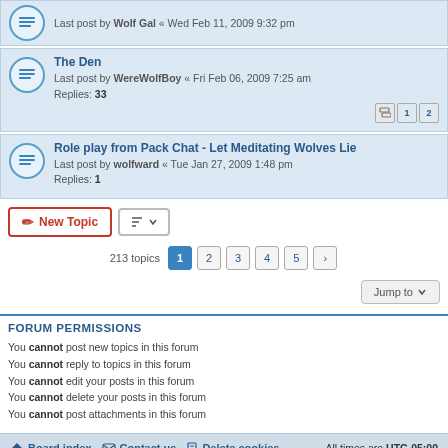Last post by Wolf Gal « Wed Feb 11, 2009 9:32 pm
The Den - Last post by WereWolfBoy « Fri Feb 06, 2009 7:25 am - Replies: 33
Role play from Pack Chat - Let Meditating Wolves Lie - Last post by wolfward « Tue Jan 27, 2009 1:48 pm - Replies: 1
New Topic | 213 topics 1 2 3 4 5 > | Jump to
FORUM PERMISSIONS
You cannot post new topics in this forum
You cannot reply to topics in this forum
You cannot edit your posts in this forum
You cannot delete your posts in this forum
You cannot post attachments in this forum
Board index | Contact us | Delete cookies | All times are UTC-05:00
Powered by phpBB® Forum Software © phpBB Limited
Privacy | Terms